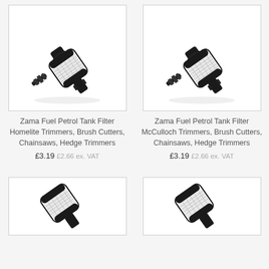[Figure (photo): Zama fuel petrol tank filter – small black cylindrical filter with white mesh and black barbed fitting, angled view on white background]
Zama Fuel Petrol Tank Filter Homelite Trimmers, Brush Cutters, Chainsaws, Hedge Trimmers
£3.19  £2.66 ex. VAT
[Figure (photo): Zama fuel petrol tank filter – small black cylindrical filter with white mesh and black barbed fitting, angled view on white background]
Zama Fuel Petrol Tank Filter McCulloch Trimmers, Brush Cutters, Chainsaws, Hedge Trimmers
£3.19  £2.66 ex. VAT
[Figure (photo): Zama fuel petrol tank filter – partial view of black cylindrical filter with white mesh, bottom of frame]
[Figure (photo): Zama fuel petrol tank filter – partial view of black cylindrical filter with white mesh, bottom of frame]